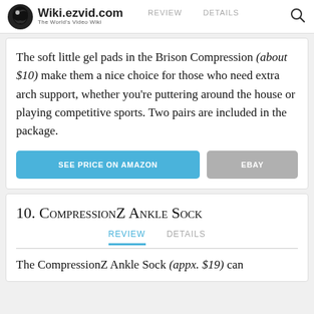Wiki.ezvid.com — The World's Video Wiki
The soft little gel pads in the Brison Compression (about $10) make them a nice choice for those who need extra arch support, whether you're puttering around the house or playing competitive sports. Two pairs are included in the package.
SEE PRICE ON AMAZON | EBAY
10. CompressionZ Ankle Sock
The CompressionZ Ankle Sock (appx. $19) can